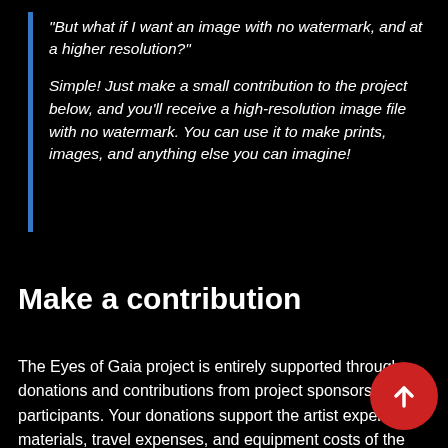"But what if I want an image with no watermark, and at a higher resolution?"
Simple! Just make a small contribution to the project below, and you'll receive a high-resolution image file with no watermark. You can use it to make prints, images, and anything else you can imagine!
Make a contribution
The Eyes of Gaia project is entirely supported through donations and contributions from project sponsors and participants. Your donations support the artist expenses, materials, travel expenses, and equipment costs of the project. All contributors will receive a high resolution image of their eye, suitable for use in framed prints, wall hangings, or anything your creativity can imagine! Make a contribution and you will receive the highest quality image available as